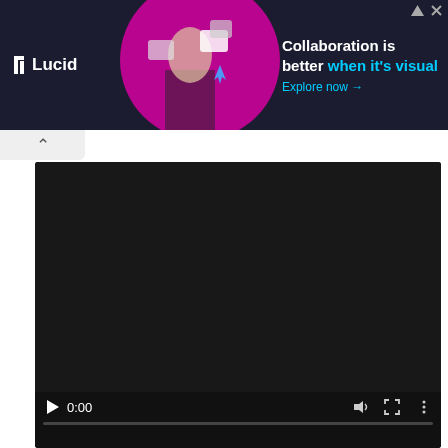[Figure (screenshot): Lucid advertisement banner with dark background, person illustration, text 'Collaboration is better when it's visual' and 'Explore now →']
[Figure (screenshot): Embedded video player with dark background showing 0:00 timestamp and playback controls (play, volume, fullscreen, more options) and a progress bar]
Joker Attitude WhatsApp status Mood Off attitude status Sad status video miscreations, Joker Attitude WhatsApp status Mood Off Video Download.